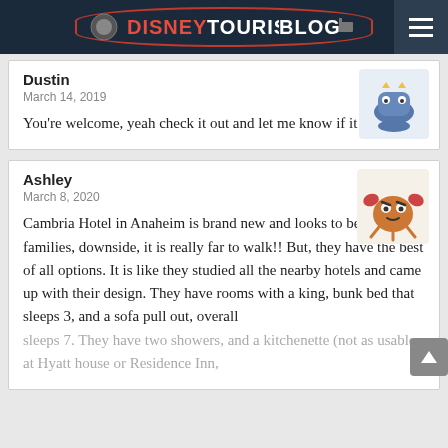DISNEYTOURISTBLOG
Dustin
March 14, 2019
You're welcome, yeah check it out and let me know if it works.
Ashley
March 8, 2020
Cambria Hotel in Anaheim is brand new and looks to be great for families, downside, it is really far to walk!! But, they have the best of all options. It is like they studied all the nearby hotels and came up with their design. They have rooms with a king, bunk bed that sleeps 3, and a sofa pull out, overall sleeps 7. They have two showers, and a kitchenette (not as usable at Hyatt house or Residence Inn,